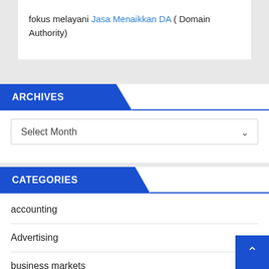fokus melayani Jasa Menaikkan DA ( Domain Authority)
ARCHIVES
Select Month
CATEGORIES
accounting
Advertising
business markets